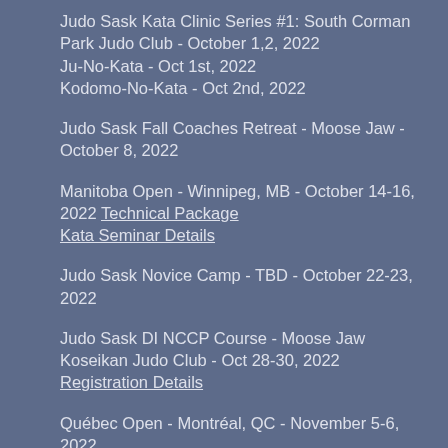Judo Sask Kata Clinic Series #1: South Corman Park Judo Club - October 1,2, 2022
Ju-No-Kata - Oct 1st, 2022
Kodomo-No-Kata - Oct 2nd, 2022
Judo Sask Fall Coaches Retreat - Moose Jaw - October 8, 2022
Manitoba Open - Winnipeg, MB - October 14-16, 2022 Technical Package
Kata Seminar Details
Judo Sask Novice Camp - TBD - October 22-23, 2022
Judo Sask DI NCCP Course - Moose Jaw Koseikan Judo Club - Oct 28-30, 2022
Registration Details
Québec Open - Montréal, QC - November 5-6, 2022